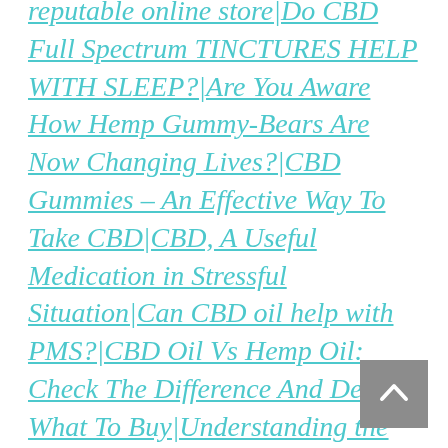reputable online store|Do CBD Full Spectrum Tinctures Help With Sleep?|Are You Aware How Hemp Gummy-Bears Are Now Changing Lives?|CBD Gummies – An Effective Way To Take CBD|CBD, A Useful Medication in Stressful Situation|Can CBD oil help with PMS?|CBD Oil Vs Hemp Oil: Check The Difference And Decide What To Buy|Understanding the Impact of CBD on Your Body|Understand Major Things When Buying Cbd Product|Improve Your Emotional and Physical Well-Being by Using CBD Vape Oil|Beginners Guide to Select the Best CBD Stores to Make A Purchase!|Top 6 Tips To Heal Your Chapped Lips|Top 7 Benefits of CBD Gummies that You Should Know|Cbd Oil UK Law: What You Should